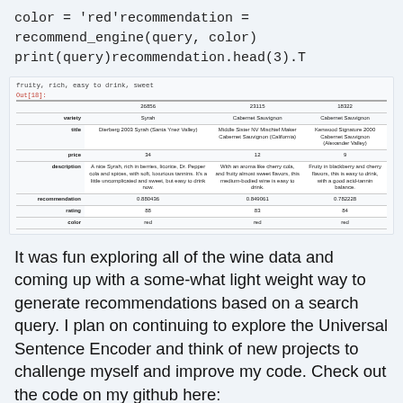color = 'red'recommendation =
recommend_engine(query, color)
print(query)recommendation.head(3).T
[Figure (screenshot): A pandas DataFrame output showing wine recommendations. The query line shows 'fruity, rich, easy to drink, sweet' with Out[18] label. The table has columns 26856, 23115, 18322 and rows for variety, title, price, description, recommendation, rating, color.]
It was fun exploring all of the wine data and coming up with a some-what light weight way to generate recommendations based on a search query. I plan on continuing to explore the Universal Sentence Encoder and think of new projects to challenge myself and improve my code. Check out the code on my github here: